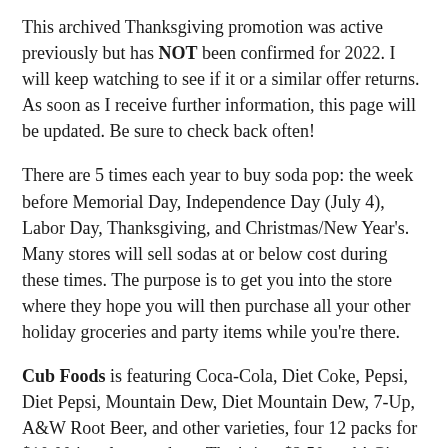This archived Thanksgiving promotion was active previously but has NOT been confirmed for 2022. I will keep watching to see if it or a similar offer returns. As soon as I receive further information, this page will be updated. Be sure to check back often!
There are 5 times each year to buy soda pop: the week before Memorial Day, Independence Day (July 4), Labor Day, Thanksgiving, and Christmas/New Year's. Many stores will sell sodas at or below cost during these times. The purpose is to get you into the store where they hope you will then purchase all your other holiday groceries and party items while you're there.
Cub Foods is featuring Coca-Cola, Diet Coke, Pepsi, Diet Pepsi, Mountain Dew, Diet Mountain Dew, 7-Up, A&W Root Beer, and other varieties, four 12 packs for $10.00 in select markets. That's just $2.50 each! Given the substantial price increases we've seen on soda over the past few years, this